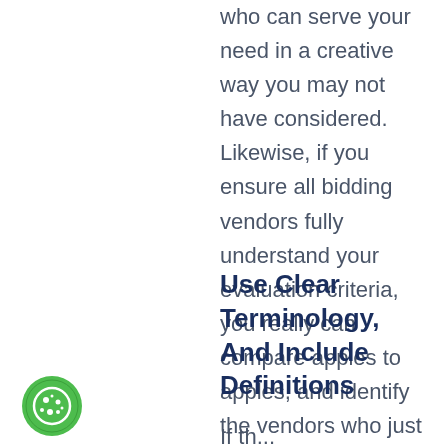who can serve your need in a creative way you may not have considered. Likewise, if you ensure all bidding vendors fully understand your evaluation criteria, you really can compare apples to apples, and identify the vendors who just don't seem to understand your organization.
Use Clear Terminology, And Include Definitions
If the...
[Figure (illustration): Green circular cookie icon with cookie/biscuit symbol]